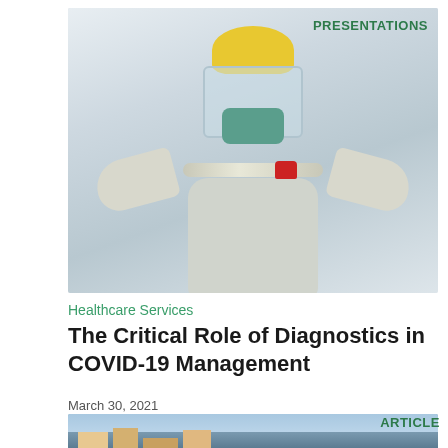[Figure (photo): Healthcare worker in full PPE including yellow hard hat, face shield, mask, and white gloves holding a COVID-19 test tube. Tag: PRESENTATIONS in green top right.]
PRESENTATIONS
Healthcare Services
The Critical Role of Diagnostics in COVID-19 Management
March 30, 2021
[Figure (photo): Coastal town with colorful buildings. Tag: ARTICLE in green top right.]
ARTICLE